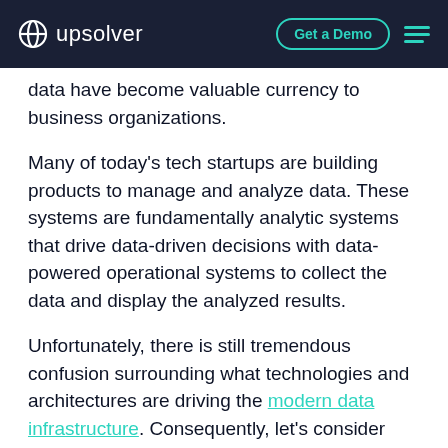upsolver | Get a Demo
data have become valuable currency to business organizations.
Many of today's tech startups are building products to manage and analyze data. These systems are fundamentally analytic systems that drive data-driven decisions with data-powered operational systems to collect the data and display the analyzed results.
Unfortunately, there is still tremendous confusion surrounding what technologies and architectures are driving the modern data infrastructure. Consequently, let's consider several of the most prominent data infrastructure trends in 2020, for this information will lead us into 2021 and the future.